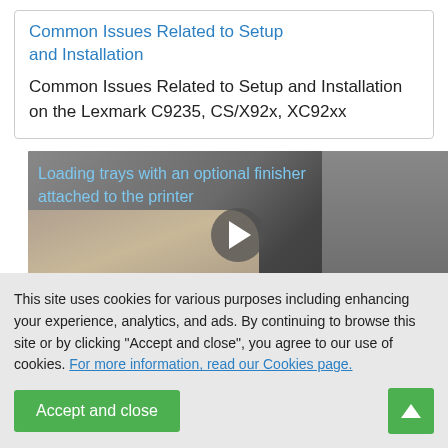Common Issues Related to Setup and Installation
Common Issues Related to Setup and Installation on the Lexmark C9235, CS/X92x, XC92xx
[Figure (other): Video thumbnail showing a printer tray being loaded with text overlay 'Loading trays with an optional finisher attached to the printer' and a play button]
This site uses cookies for various purposes including enhancing your experience, analytics, and ads. By continuing to browse this site or by clicking "Accept and close", you agree to our use of cookies. For more information, read our Cookies page.